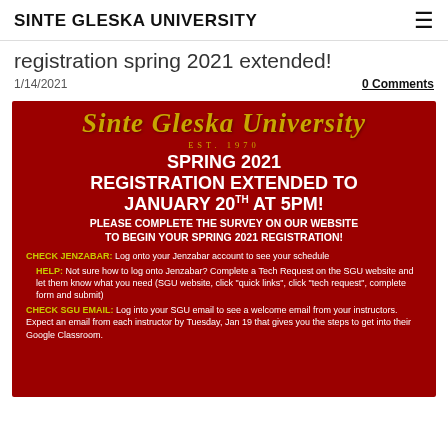SINTE GLESKA UNIVERSITY
registration spring 2021 extended!
1/14/2021
0 Comments
[Figure (infographic): Red background flyer for Sinte Gleska University showing Spring 2021 Registration Extended to January 20th at 5PM, with instructions to complete the survey on the website, check Jenzabar, get help with tech requests, and check SGU email for instructor welcome emails.]